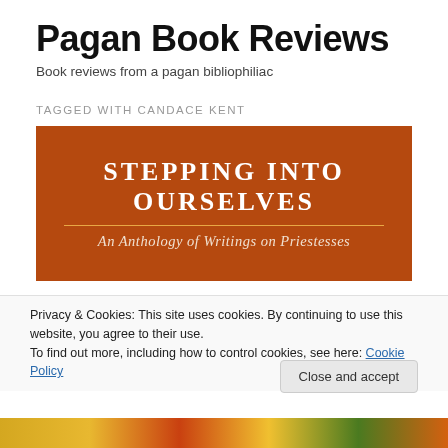Pagan Book Reviews
Book reviews from a pagan bibliophiliac
TAGGED WITH CANDACE KENT
[Figure (illustration): Book cover banner for 'Stepping Into Ourselves: An Anthology of Writings on Priestesses' with white serif text on a burnt-orange/brown background with a decorative gold horizontal rule.]
Privacy & Cookies: This site uses cookies. By continuing to use this website, you agree to their use.
To find out more, including how to control cookies, see here: Cookie Policy
Close and accept
[Figure (illustration): Colorful multi-colored strip at bottom of page.]